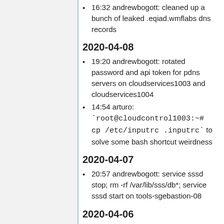16:32 andrewbogott: cleaned up a bunch of leaked .eqiad.wmflabs dns records
2020-04-08
19:20 andrewbogott: rotated password and api token for pdns servers on cloudservices1003 and cloudservices1004
14:54 arturo: `root@cloudcontrol1003:~# cp /etc/inputrc .inputrc` to solve some bash shortcut weirdness
2020-04-07
20:57 andrewbogott: service sssd stop; rm -rf /var/lib/sss/db*; service sssd start on tools-sgebastion-08
2020-04-06
22:39 andrewbogott: deleting bogus...